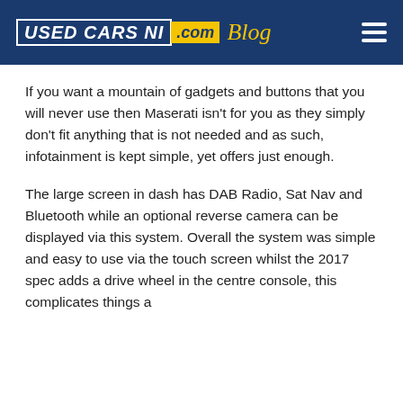USED CARS NI .com Blog
If you want a mountain of gadgets and buttons that you will never use then Maserati isn't for you as they simply don't fit anything that is not needed and as such, infotainment is kept simple, yet offers just enough.
The large screen in dash has DAB Radio, Sat Nav and Bluetooth while an optional reverse camera can be displayed via this system. Overall the system was simple and easy to use via the touch screen whilst the 2017 spec adds a drive wheel in the centre console, this complicates things a